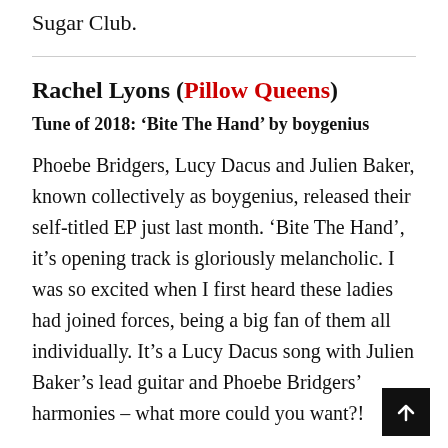Sugar Club.
Rachel Lyons (Pillow Queens)
Tune of 2018: ‘Bite The Hand’ by boygenius
Phoebe Bridgers, Lucy Dacus and Julien Baker, known collectively as boygenius, released their self-titled EP just last month. ‘Bite The Hand’, it’s opening track is gloriously melancholic. I was so excited when I first heard these ladies had joined forces, being a big fan of them all individually. It’s a Lucy Dacus song with Julien Baker’s lead guitar and Phoebe Bridgers’ harmonies – what more could you want?!